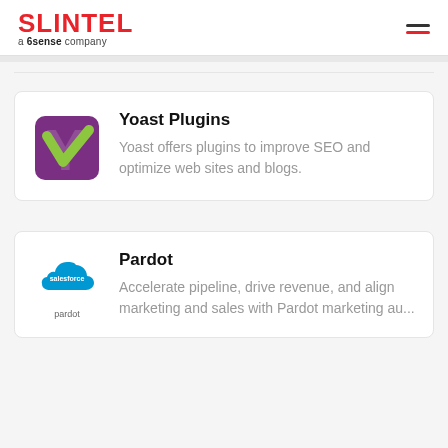SLINTEL a 6sense company
Yoast Plugins
Yoast offers plugins to improve SEO and optimize web sites and blogs.
Pardot
Accelerate pipeline, drive revenue, and align marketing and sales with Pardot marketing au...